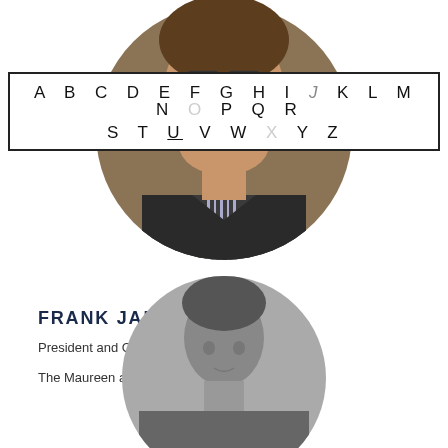[Figure (photo): Circular portrait photo of Frank Jannuzi, a man with glasses wearing a suit, partially visible at top]
[Figure (other): Alphabet navigation bar: A B C D E F G H I J K L M N O P Q R S T U V W X Y Z with J and O highlighted/active]
FRANK JANNUZI
President and CEO
The Maureen and Mike Mansfield Foundation
[Figure (photo): Circular portrait photo, bottom portion visible, black and white, person partially cut off at bottom of page]